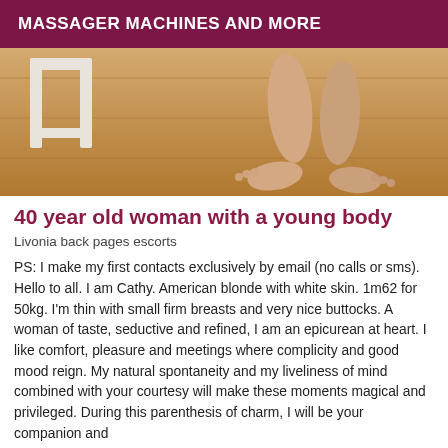MASSAGER MACHINES AND MORE
[Figure (photo): Close-up photo of woman's bare feet and lower legs on a wooden floor, with a white wooden furniture piece visible on the left side.]
40 year old woman with a young body
Livonia back pages escorts
PS: I make my first contacts exclusively by email (no calls or sms). Hello to all. I am Cathy. American blonde with white skin. 1m62 for 50kg. I'm thin with small firm breasts and very nice buttocks. A woman of taste, seductive and refined, I am an epicurean at heart. I like comfort, pleasure and meetings where complicity and good mood reign. My natural spontaneity and my liveliness of mind combined with your courtesy will make these moments magical and privileged. During this parenthesis of charm, I will be your companion and